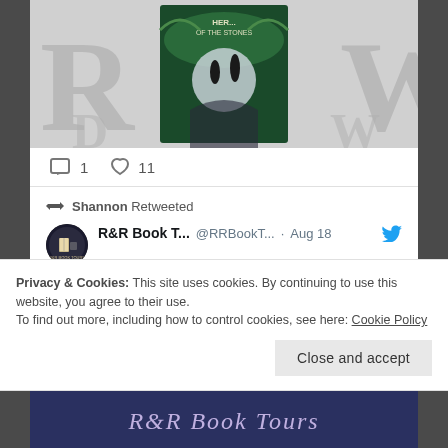[Figure (screenshot): Screenshot of a tweet/social media post showing a book cover image for 'Her... of the Stones' with large letters R, W in background]
1   11
Shannon Retweeted
R&R Book T...  @RRBookT...  · Aug 18
September is booked solid in terms of tours but we offer events that don't require a lot of notice and can still be booked next month!

Book Cover ~ The Heart of Neverland by Natalie J Reddy
Privacy & Cookies: This site uses cookies. By continuing to use this website, you agree to their use.
To find out more, including how to control cookies, see here: Cookie Policy
Close and accept
[Figure (screenshot): Bottom banner with stylized cursive text 'R&R Book Tours' on dark purple/navy background]